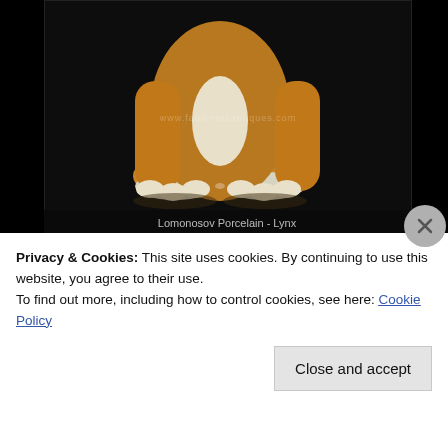[Figure (photo): Close-up photograph of a Lomonosov porcelain lynx figurine showing the paws and lower body against a black background. A watermark reads www.faulknersantiques.com]
Lomonosov Porcelain - Lynx
[Figure (photo): Close-up photograph of a glass or crystal decanter stopper with a round ball top and decorative base, reflected on a shiny surface, gray background]
Privacy & Cookies: This site uses cookies. By continuing to use this website, you agree to their use.
To find out more, including how to control cookies, see here: Cookie Policy
Close and accept